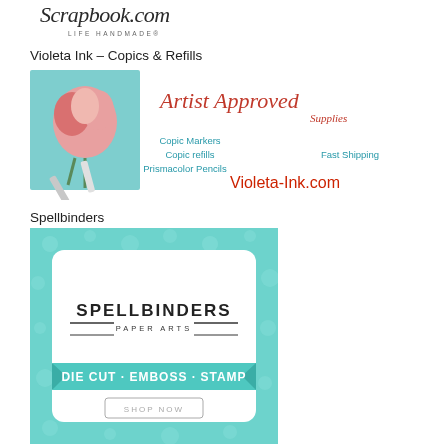[Figure (logo): Scrapbook.com logo with script text and 'LIFE HANDMADE®' tagline]
Violeta Ink – Copics & Refills
[Figure (illustration): Violeta Ink advertisement showing 'Artist Approved Supplies', Copic Markers, Copic refills, Prismacolor Pencils, Fast Shipping, Violeta-Ink.com]
Spellbinders
[Figure (illustration): Spellbinders Paper Arts advertisement showing 'DIE CUT · EMBOSS · STAMP' banner and 'SHOP NOW' button]